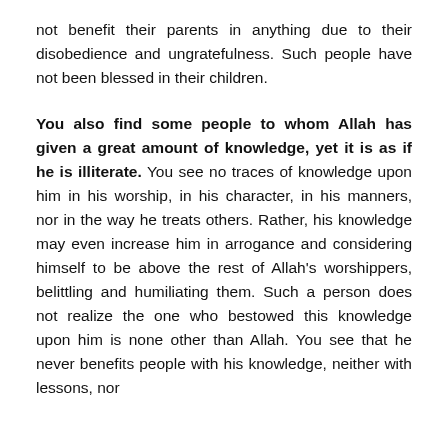not benefit their parents in anything due to their disobedience and ungratefulness. Such people have not been blessed in their children.
You also find some people to whom Allah has given a great amount of knowledge, yet it is as if he is illiterate. You see no traces of knowledge upon him in his worship, in his character, in his manners, nor in the way he treats others. Rather, his knowledge may even increase him in arrogance and considering himself to be above the rest of Allah's worshippers, belittling and humiliating them. Such a person does not realize the one who bestowed this knowledge upon him is none other than Allah. You see that he never benefits people with his knowledge, neither with lessons, nor